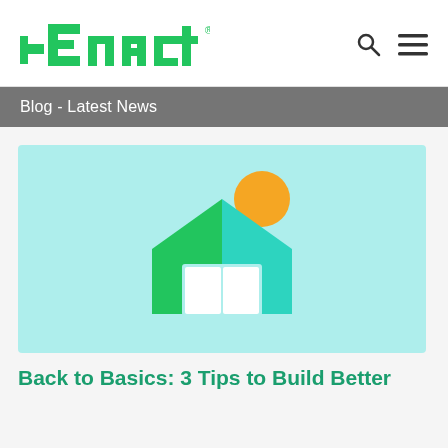Enact
Blog - Latest News
[Figure (illustration): Enact blog article hero image: light teal/cyan background with a stylized house icon (green and teal geometric outline of a house shape) and an orange circle sun above it]
Back to Basics: 3 Tips to Build Better